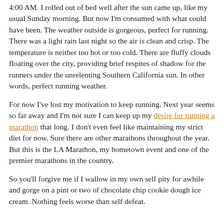4:00 AM. I rolled out of bed well after the sun came up, like my usual Sunday morning. But now I'm consumed with what could have been. The weather outside is gorgeous, perfect for running. There was a light rain last night so the air is clean and crisp. The temperature is neither too hot or too cold. There are fluffy clouds floating over the city, providing brief respites of shadow for the runners under the unrelenting Southern California sun. In other words, perfect running weather.
For now I've lost my motivation to keep running. Next year seems so far away and I'm not sure I can keep up my desire for running a marathon that long. I don't even feel like maintaining my strict diet for now. Sure there are other marathons throughout the year. But this is the LA Marathon, my hometown event and one of the premier marathons in the country.
So you'll forgive me if I wallow in my own self pity for awhile and gorge on a pint or two of chocolate chip cookie dough ice cream. Nothing feels worse than self defeat.